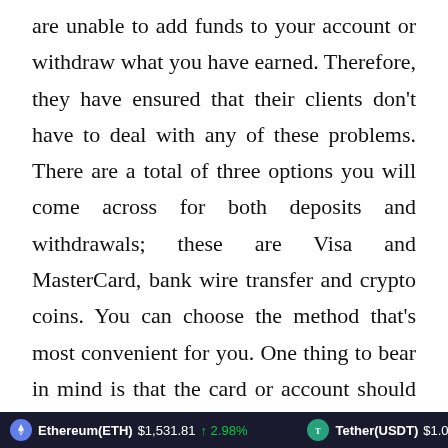are unable to add funds to your account or withdraw what you have earned. Therefore, they have ensured that their clients don't have to deal with any of these problems. There are a total of three options you will come across for both deposits and withdrawals; these are Visa and MasterCard, bank wire transfer and crypto coins. You can choose the method that's most convenient for you. One thing to bear in mind is that the card or account should be in the same name as the account holder
Ethereum(ETH) $1,531.81 ↑ 2.98%   Tether(USDT) $1.00 ↓